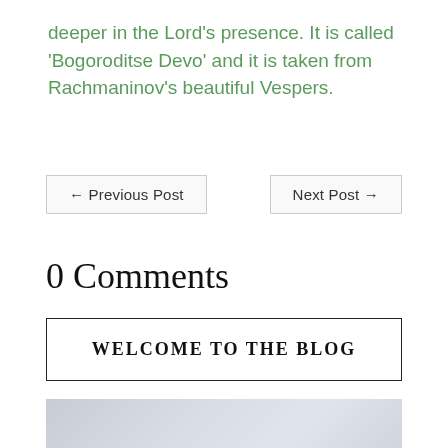deeper in the Lord’s presence. It is called ‘Bogoroditse Devo’ and it is taken from Rachmaninov’s beautiful Vespers.
← Previous Post
Next Post →
0 Comments
Welcome to the Blog
[Figure (photo): Partial view of a light gray/blue gradient image at the bottom of the page]